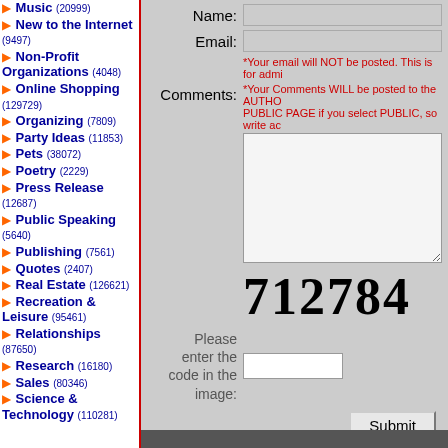Music (20999)
New to the Internet (9497)
Non-Profit Organizations (4048)
Online Shopping (129729)
Organizing (7809)
Party Ideas (11853)
Pets (38072)
Poetry (2229)
Press Release (12687)
Public Speaking (5640)
Publishing (7561)
Quotes (2407)
Real Estate (126621)
Recreation & Leisure (95461)
Relationships (87650)
Research (16180)
Sales (80346)
Science & Technology (110281)
Name:
Email:
*Your email will NOT be posted. This is for admi...
Comments:
*Your Comments WILL be posted to the AUTHO PUBLIC PAGE if you select PUBLIC, so write ac
712784
Please enter the code in the image:
Submit